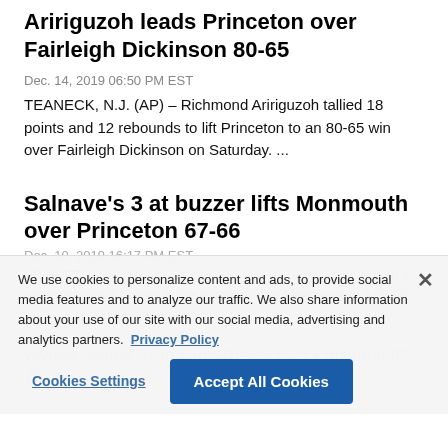Aririguzoh leads Princeton over Fairleigh Dickinson 80-65
Dec. 14, 2019 06:50 PM EST
TEANECK, N.J. (AP) – Richmond Aririguzoh tallied 18 points and 12 rebounds to lift Princeton to an 80-65 win over Fairleigh Dickinson on Saturday. ...
Salnave's 3 at buzzer lifts Monmouth over Princeton 67-66
Dec. 10, 2019 16:17 PM EST
PRINCETON, N.J. (AP) — Kayla Salnave scored 4 points and hit a game-winning 3-pointer at the buzzer to rally Monmouth to a 67-66 victory over Princeton on ...
We use cookies to personalize content and ads, to provide social media features and to analyze our traffic. We also share information about your use of our site with our social media, advertising and analytics partners. Privacy Policy
Wynter scores 31 to carry Drexel over Princeton 82-76